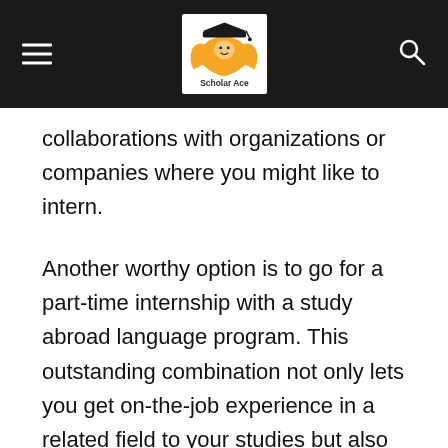Scholar Ace [logo header with hamburger menu and search icon]
collaborations with organizations or companies where you might like to intern.
Another worthy option is to go for a part-time internship with a study abroad language program. This outstanding combination not only lets you get on-the-job experience in a related field to your studies but also enhances your language skills while you interact with a mix of different ethos and backgrounds.